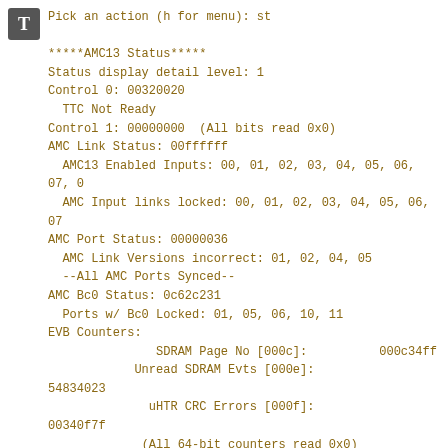[Figure (other): Terminal icon — dark grey square with white letter T]
Pick an action (h for menu): st

*****AMC13 Status*****
Status display detail level: 1
Control 0: 00320020
  TTC Not Ready
Control 1: 00000000  (All bits read 0x0)
AMC Link Status: 00ffffff
  AMC13 Enabled Inputs: 00, 01, 02, 03, 04, 05, 06, 07, 0
  AMC Input links locked: 00, 01, 02, 03, 04, 05, 06, 07
AMC Port Status: 00000036
  AMC Link Versions incorrect: 01, 02, 04, 05
  --All AMC Ports Synced--
AMC Bc0 Status: 0c62c231
  Ports w/ Bc0 Locked: 01, 05, 06, 10, 11
EVB Counters:
               SDRAM Page No [000c]:          000c34ff
            Unread SDRAM Evts [000e]:          54834023
              uHTR CRC Errors [000f]:          00340f7f
             (All 64-bit counters read 0x0)